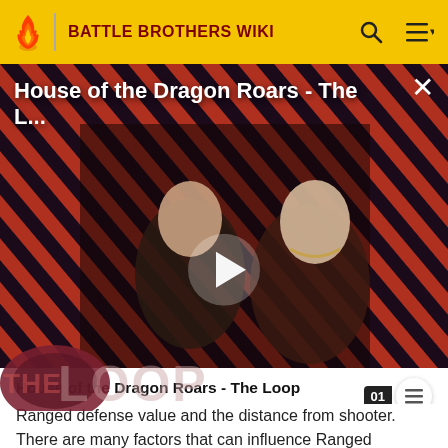BATTLE BROTHERS WIKI
[Figure (screenshot): Video thumbnail for 'House of the Dragon Roars - The L...' showing two characters from House of the Dragon against a red and black diagonal striped background with THE LOOP branding and a play button overlay]
House of the Dragon Roars - The Loop
Ranged defense value and the distance from shooter.
There are many factors that can influence Ranged defense of units. Nighttime decreases Ranged defense by